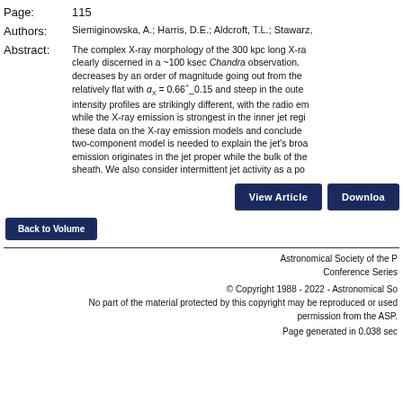Page: 115
Authors: Siemiginowska, A.; Harris, D.E.; Aldcroft, T.L.; Stawarz,
Abstract: The complex X-ray morphology of the 300 kpc long X-ray jet is clearly discerned in a ~100 ksec Chandra observation. decreases by an order of magnitude going out from the relatively flat with αX = 0.66+_0.15 and steep in the outer intensity profiles are strikingly different, with the radio emission while the X-ray emission is strongest in the inner jet region. these data on the X-ray emission models and conclude two-component model is needed to explain the jet's broad emission originates in the jet proper while the bulk of the sheath. We also consider intermittent jet activity as a possible explanation.
View Article
Download
Back to Volume
Astronomical Society of the P
Conference Series
© Copyright 1988 - 2022 - Astronomical So
No part of the material protected by this copyright may be reproduced or used without permission from the ASP.
Page generated in 0.038 sec